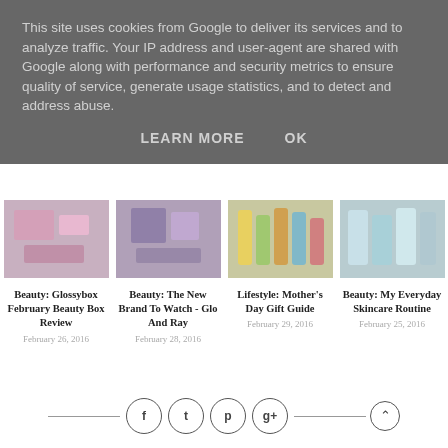This site uses cookies from Google to deliver its services and to analyze traffic. Your IP address and user-agent are shared with Google along with performance and security metrics to ensure quality of service, generate usage statistics, and to detect and address abuse.
LEARN MORE   OK
[Figure (photo): Blog card image 1 - beauty/cosmetics]
Beauty: Glossybox February Beauty Box Review
February 26, 2016
[Figure (photo): Blog card image 2 - makeup palette]
Beauty: The New Brand To Watch - Glo And Ray
February 28, 2016
[Figure (photo): Blog card image 3 - colorful bottles]
Lifestyle: Mother's Day Gift Guide
February 29, 2016
[Figure (photo): Blog card image 4 - skincare products]
Beauty: My Everyday Skincare Routine
February 25, 2016